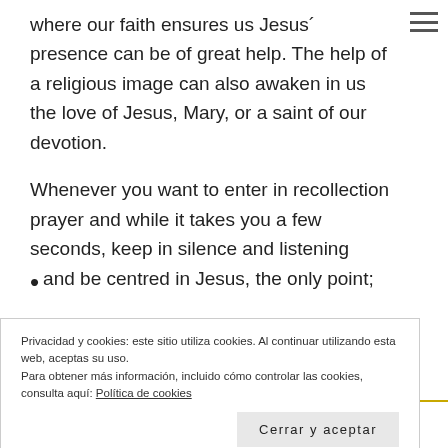where our faith ensures us Jesus´ presence can be of great help. The help of a religious image can also awaken in us the love of Jesus, Mary, or a saint of our devotion.
Whenever you want to enter in recollection prayer and while it takes you a few seconds, keep in silence and listening and be centred in Jesus, the only point;
Privacidad y cookies: este sitio utiliza cookies. Al continuar utilizando esta web, aceptas su uso.
Para obtener más información, incluido cómo controlar las cookies, consulta aquí: Política de cookies
Cerrar y aceptar
Let's learn to enter into recollection